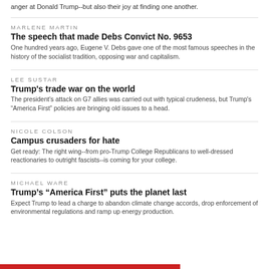anger at Donald Trump--but also their joy at finding one another.
MARLENE MARTIN
The speech that made Debs Convict No. 9653
One hundred years ago, Eugene V. Debs gave one of the most famous speeches in the history of the socialist tradition, opposing war and capitalism.
LEE SUSTAR
Trump's trade war on the world
The president's attack on G7 allies was carried out with typical crudeness, but Trump's “America First” policies are bringing old issues to a head.
NICOLE COLSON
Campus crusaders for hate
Get ready: The right wing--from pro-Trump College Republicans to well-dressed reactionaries to outright fascists--is coming for your college.
MICHAEL WARE
Trump’s “America First” puts the planet last
Expect Trump to lead a charge to abandon climate change accords, drop enforcement of environmental regulations and ramp up energy production.